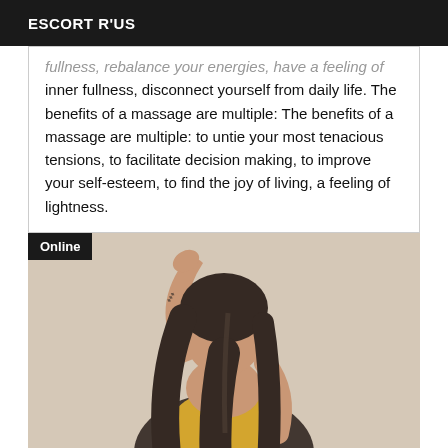ESCORT R'US
fullness, rebalance your energies, have a feeling of inner fullness, disconnect yourself from daily life. The benefits of a massage are multiple: The benefits of a massage are multiple: to untie your most tenacious tensions, to facilitate decision making, to improve your self-esteem, to find the joy of living, a feeling of lightness.
[Figure (photo): Woman with long dark hair facing a wall, arm raised, wearing a yellow top, with a tattoo visible on her arm. Online badge in top left corner.]